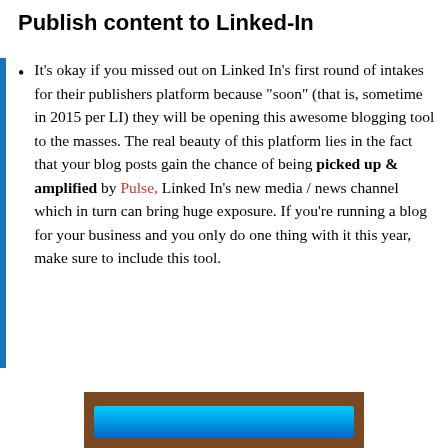Publish content to Linked-In
It’s okay if you missed out on Linked In’s first round of intakes for their publishers platform because “soon” (that is, sometime in 2015 per LI) they will be opening this awesome blogging tool to the masses. The real beauty of this platform lies in the fact that your blog posts gain the chance of being picked up & amplified by Pulse, Linked In’s new media / news channel which in turn can bring huge exposure. If you’re running a blog for your business and you only do one thing with it this year, make sure to include this tool.
[Figure (screenshot): Partial screenshot showing a dark brown bordered box with a blue glowing element inside, cropped at the bottom of the page.]